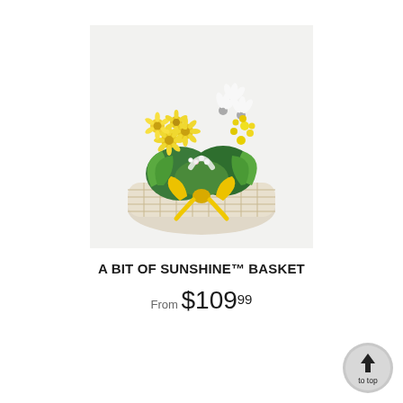[Figure (photo): A white wicker basket filled with yellow daisies, white cyclamen, yellow kalanchoe, and green foliage plants, tied with a large yellow ribbon bow, on a white background.]
A BIT OF SUNSHINE™ BASKET
From $109.99